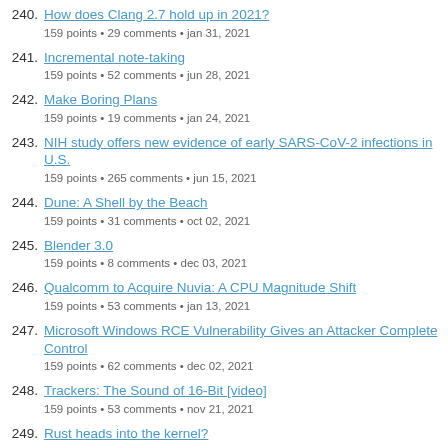240. How does Clang 2.7 hold up in 2021?
159 points • 29 comments • jan 31, 2021
241. Incremental note-taking
159 points • 52 comments • jun 28, 2021
242. Make Boring Plans
159 points • 19 comments • jan 24, 2021
243. NIH study offers new evidence of early SARS-CoV-2 infections in U.S.
159 points • 265 comments • jun 15, 2021
244. Dune: A Shell by the Beach
159 points • 31 comments • oct 02, 2021
245. Blender 3.0
159 points • 8 comments • dec 03, 2021
246. Qualcomm to Acquire Nuvia: A CPU Magnitude Shift
159 points • 53 comments • jan 13, 2021
247. Microsoft Windows RCE Vulnerability Gives an Attacker Complete Control
159 points • 62 comments • dec 02, 2021
248. Trackers: The Sound of 16-Bit [video]
159 points • 53 comments • nov 21, 2021
249. Rust heads into the kernel?